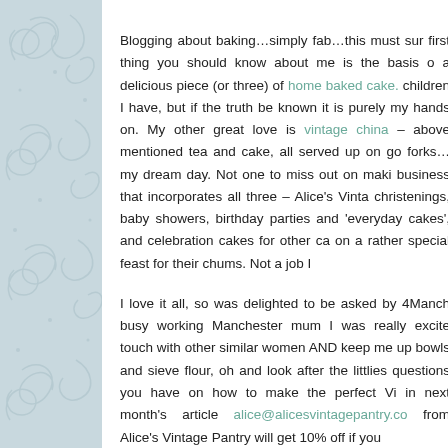[Figure (illustration): Light blue/grey decorative panel with swirling floral/scroll pattern in slightly darker blue-grey tones, occupying the left side of the page.]
Blogging about baking…simply fab…this must sur first thing you should know about me is the basis o a delicious piece (or three) of home baked cake. children I have, but if the truth be known it is purely my hands on. My other great love is vintage china – above mentioned tea and cake, all served up on go forks…my dream day. Not one to miss out on maki business that incorporates all three – Alice's Vinta christenings, baby showers, birthday parties and 'everyday cakes', and celebration cakes for other ca on a rather special feast for their chums. Not a job I

I love it all, so was delighted to be asked by 4Manch busy working Manchester mum I was really excite touch with other similar women AND keep me up bowls and sieve flour, oh and look after the littlies questions you have on how to make the perfect Vi in next month's article alice@alicesvintagepantry.co from Alice's Vintage Pantry will get 10% off if you